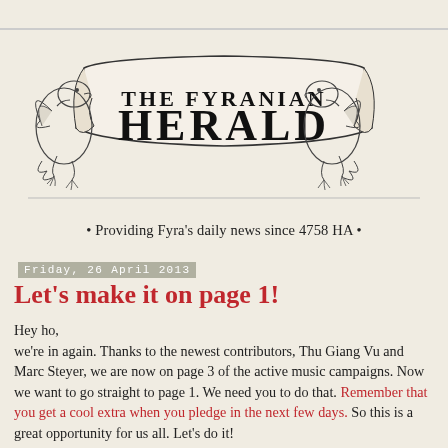[Figure (logo): The Fyranian Herald masthead with ornate banner and dragon illustrations on either side. Text reads 'THE FYRANIAN HERALD' in decorative blackletter/art nouveau font.]
• Providing Fyra's daily news since 4758 HA •
Friday, 26 April 2013
Let's make it on page 1!
Hey ho,
we're in again. Thanks to the newest contributors, Thu Giang Vu and Marc Steyer, we are now on page 3 of the active music campaigns. Now we want to go straight to page 1. We need you to do that. Remember that you get a cool extra when you pledge in the next few days. So this is a great opportunity for us all. Let's do it!